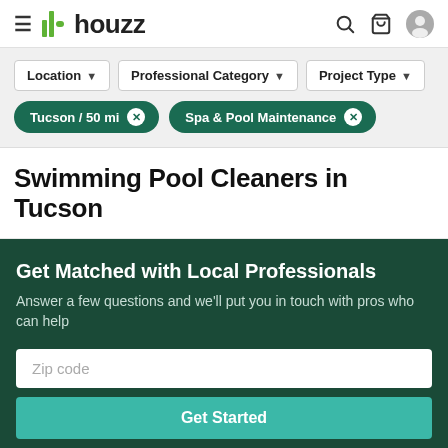houzz
Location ▼ | Professional Category ▼ | Project Type ▼
Tucson / 50 mi ✕ | Spa & Pool Maintenance ✕
Swimming Pool Cleaners in Tucson
Get Matched with Local Professionals
Answer a few questions and we'll put you in touch with pros who can help
Zip code
Get Started